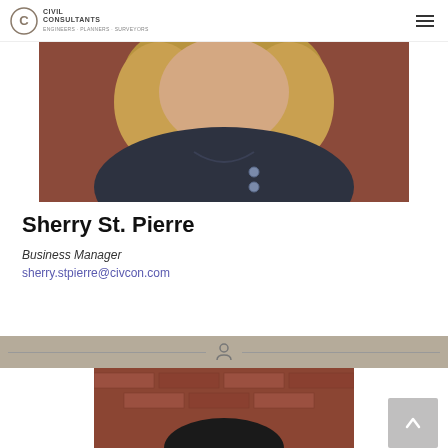Civil Consultants
[Figure (photo): Portrait photo of Sherry St. Pierre wearing a dark navy blouse, shoulder-length hair, photographed from shoulders up]
Sherry St. Pierre
Business Manager
sherry.stpierre@civcon.com
[Figure (photo): Photo showing a brick wall background with a person visible at bottom, partially cropped]